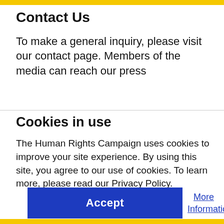Contact Us
To make a general inquiry, please visit our contact page. Members of the media can reach our press
Cookies in use
The Human Rights Campaign uses cookies to improve your site experience. By using this site, you agree to our use of cookies. To learn more, please read our Privacy Policy.
Accept
More Information